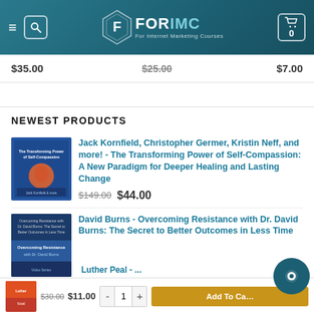[Figure (screenshot): FORIMC website header with logo, hamburger menu, search icon, and cart icon showing 0 items]
$35.00  $25.00 (strikethrough)  $7.00
NEWEST PRODUCTS
[Figure (photo): Book cover thumbnail for The Transforming Power of Self-Compassion]
Jack Kornfield, Christopher Germer, Kristin Neff, and more! - The Transforming Power of Self-Compassion: A New Paradigm for Deeper Healing and Lasting Change
$149.00  $44.00
[Figure (photo): Book cover thumbnail for Overcoming Resistance with Dr. David Burns]
David Burns - Overcoming Resistance with Dr. David Burns: The Secret to Better Outcomes in Less Time
$30.00  $11.00
Luther Peal - ...